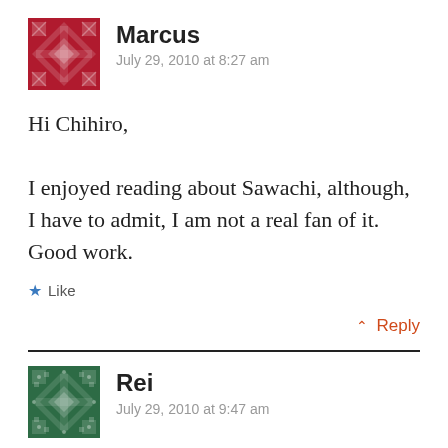[Figure (illustration): Avatar icon for Marcus — red/dark red geometric quilted pattern square]
Marcus
July 29, 2010 at 8:27 am
Hi Chihiro,

I enjoyed reading about Sawachi, although, I have to admit, I am not a real fan of it. Good work.
Like
Reply
[Figure (illustration): Avatar icon for Rei — green/dark green geometric quilted pattern square]
Rei
July 29, 2010 at 9:47 am
I like the style of Sawachi. Also, it is exactly